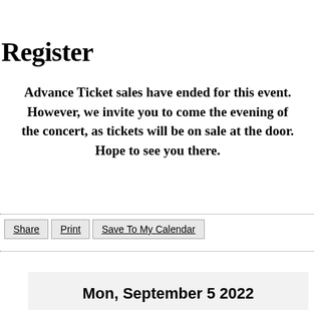Register
Advance Ticket sales have ended for this event. However, we invite you to come the evening of the concert, as tickets will be on sale at the door. Hope to see you there.
Share  Print  Save To My Calendar
Mon, September 5 2022